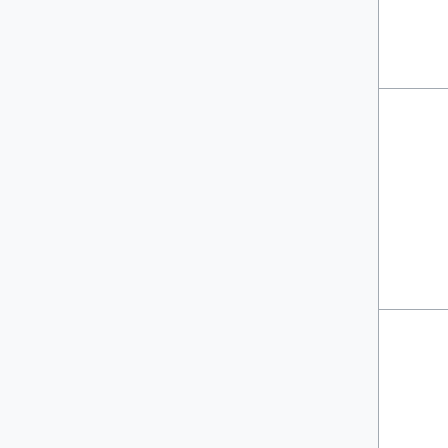| Name | Description |
| --- | --- |
| Phaser | Game Engine and Toolkit by Photon Storm Ltd. that exports to HTML5. |
| PICO-8 | Game Engine and Toolkit by Lexaloffle that exports to HTML5. Designed for Retro style game with a 128x128 resolution. |
| PixiJS | Game Library for HTML5 by GoodBoy Digital. |
| PlayCanvas | Open source Game Engine that exports to HTML5. Designed for both games and |